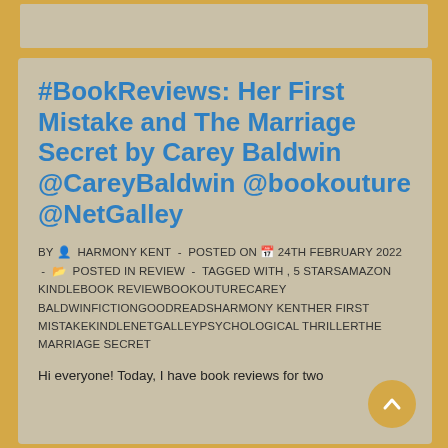#BookReviews: Her First Mistake and The Marriage Secret by Carey Baldwin @CareyBaldwin @bookouture @NetGalley
BY  HARMONY KENT  -  POSTED ON  24TH FEBRUARY 2022  -   POSTED IN REVIEW  -  TAGGED WITH , 5 STARSAMAZON KINDLEBOOK REVIEWBOOKOUTURECAREY BALDWINFICTIONGOODREADSHARMONY KENTHER FIRST MISTAKEKINDLENETGALLEYPSYCHOLOGICAL THRILLERTHE MARRIAGE SECRET
Hi everyone! Today, I have book reviews for two